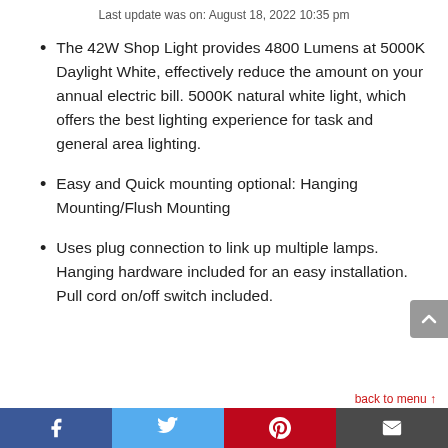Last update was on: August 18, 2022 10:35 pm
The 42W Shop Light provides 4800 Lumens at 5000K Daylight White, effectively reduce the amount on your annual electric bill. 5000K natural white light, which offers the best lighting experience for task and general area lighting.
Easy and Quick mounting optional: Hanging Mounting/Flush Mounting
Uses plug connection to link up multiple lamps. Hanging hardware included for an easy installation. Pull cord on/off switch included.
back to menu ↑